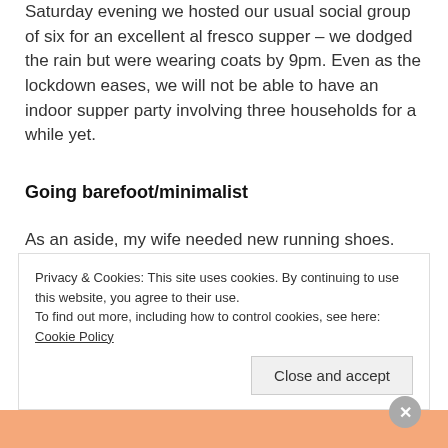Saturday evening we hosted our usual social group of six for an excellent al fresco supper – we dodged the rain but were wearing coats by 9pm. Even as the lockdown eases, we will not be able to have an indoor supper party involving three households for a while yet.
Going barefoot/minimalist
As an aside, my wife needed new running shoes. When I ordered them I also ordered for
Privacy & Cookies: This site uses cookies. By continuing to use this website, you agree to their use.
To find out more, including how to control cookies, see here: Cookie Policy
Close and accept